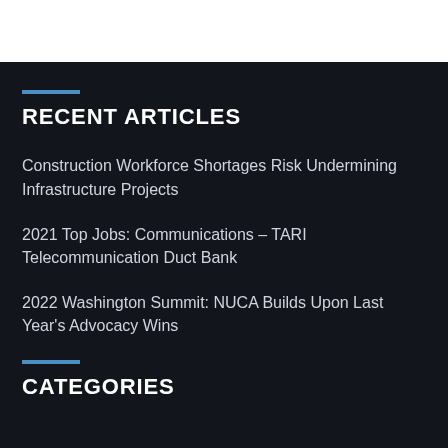RECENT ARTICLES
Construction Workforce Shortages Risk Undermining Infrastructure Projects
2021 Top Jobs: Communications – TARI Telecommunication Duct Bank
2022 Washington Summit: NUCA Builds Upon Last Year's Advocacy Wins
CATEGORIES